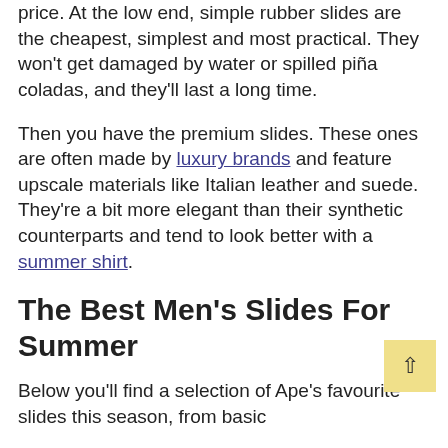price. At the low end, simple rubber slides are the cheapest, simplest and most practical. They won't get damaged by water or spilled piña coladas, and they'll last a long time.
Then you have the premium slides. These ones are often made by luxury brands and feature upscale materials like Italian leather and suede. They're a bit more elegant than their synthetic counterparts and tend to look better with a summer shirt.
The Best Men's Slides For Summer
Below you'll find a selection of Ape's favourite slides this season, from basic